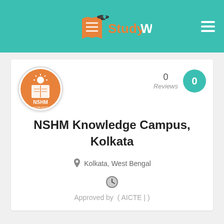StudyWoo
[Figure (logo): NSHM Knowledge Campus circular logo with orange background, sun and book imagery]
0 Reviews
NSHM Knowledge Campus, Kolkata
Kolkata, West Bengal
Approved by ( AICTE | )